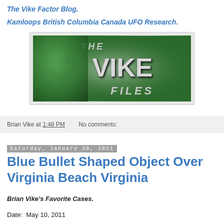The Vike Factor Blog.
Kamloops British Columbia Canada UFO Research.
[Figure (photo): The Vike Files banner image featuring a green-tinted silhouette figure and large bold text reading 'THE VIKE FILES']
Brian Vike at 1:48 PM   No comments:
Saturday, January 30, 2021
Blue Bullet Shaped Object Over Virginia Beach Virginia
Brian Vike's Favorite Cases.
Date:  May 10, 2011